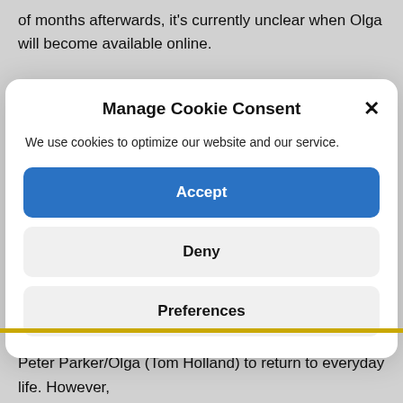of months afterwards, it's currently unclear when Olga will become available online.
Manage Cookie Consent
We use cookies to optimize our website and our service.
Accept
Deny
Preferences
The film is set after Avengers: Endgame and follows Peter Parker/Olga (Tom Holland) to return to everyday life. However,